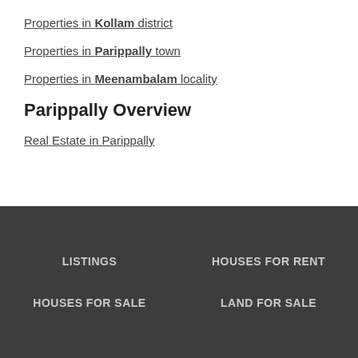Properties in Kollam district
Properties in Parippally town
Properties in Meenambalam locality
Parippally Overview
Real Estate in Parippally
LISTINGS
HOUSES FOR RENT
HOUSES FOR SALE
LAND FOR SALE